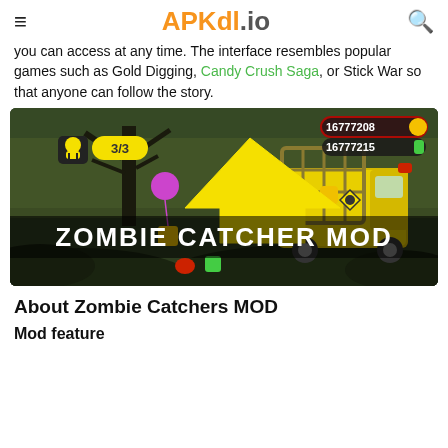APKdl.io
you can access at any time. The interface resembles popular games such as Gold Digging, Candy Crush Saga, or Stick War so that anyone can follow the story.
[Figure (screenshot): Screenshot of Zombie Catcher MOD game showing a dark spooky level with a yellow truck/cage, a character with a balloon, zombies on the ground, and a large yellow arrow pointing to in-game currency counters showing 16777208 coins and 16777215 green gems. Bold white text reads ZOMBIE CATCHER MOD.]
About Zombie Catchers MOD
Mod feature